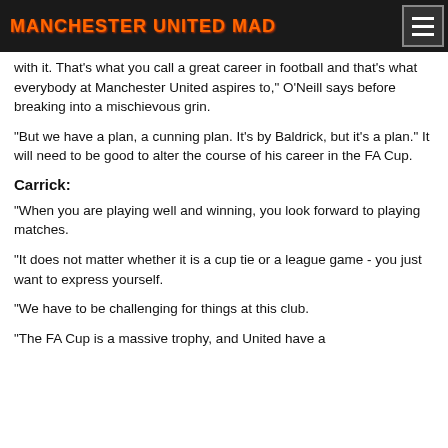MANCHESTER UNITED MAD
with it. That's what you call a great career in football and that's what everybody at Manchester United aspires to," O'Neill says before breaking into a mischievous grin.
"But we have a plan, a cunning plan. It's by Baldrick, but it's a plan." It will need to be good to alter the course of his career in the FA Cup.
Carrick:
"When you are playing well and winning, you look forward to playing matches.
"It does not matter whether it is a cup tie or a league game - you just want to express yourself.
"We have to be challenging for things at this club.
"The FA Cup is a massive trophy, and United have a